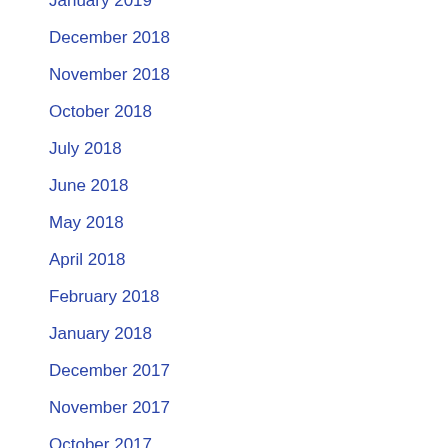January 2019
December 2018
November 2018
October 2018
July 2018
June 2018
May 2018
April 2018
February 2018
January 2018
December 2017
November 2017
October 2017
September 2017
August 2017
July 2017
June 2017
May 2017